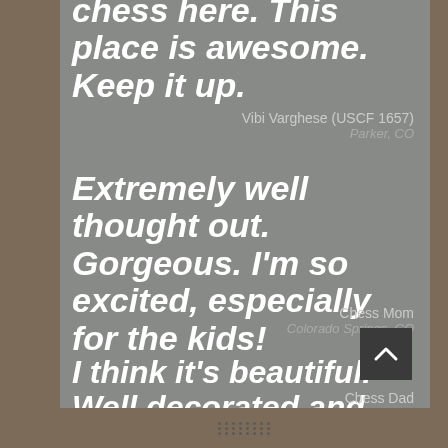chess here. This place is awesome. Keep it up.
Vibi Varghese (USCF 1657)
Parker, CO
Extremely well thought out. Gorgeous. I'm so excited, especially for the kids!
Chess Mom
Colorado Springs, CO
I think it's beautiful. Well decorated and comfortable.
Chess Dad